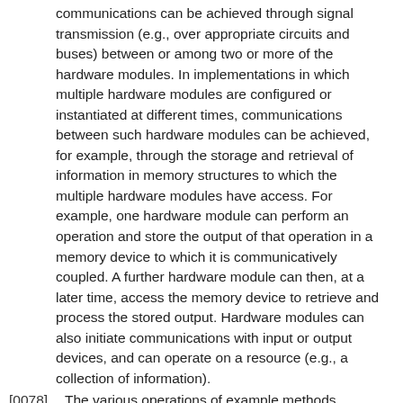communications can be achieved through signal transmission (e.g., over appropriate circuits and buses) between or among two or more of the hardware modules. In implementations in which multiple hardware modules are configured or instantiated at different times, communications between such hardware modules can be achieved, for example, through the storage and retrieval of information in memory structures to which the multiple hardware modules have access. For example, one hardware module can perform an operation and store the output of that operation in a memory device to which it is communicatively coupled. A further hardware module can then, at a later time, access the memory device to retrieve and process the stored output. Hardware modules can also initiate communications with input or output devices, and can operate on a resource (e.g., a collection of information).
[0078] The various operations of example methods described herein can be performed, at least partially, by one or more processors that are